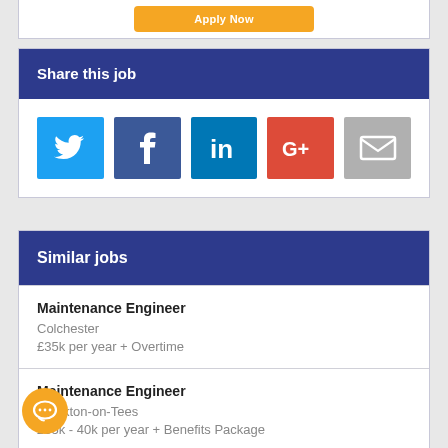[Figure (screenshot): Orange apply button at top of card]
Share this job
[Figure (infographic): Social share buttons: Twitter (blue bird), Facebook (f), LinkedIn (in), Google+ (G+), Email (envelope)]
Similar jobs
Maintenance Engineer
Colchester
£35k per year + Overtime
Maintenance Engineer
Stockton-on-Tees
£35k - 40k per year + Benefits Package